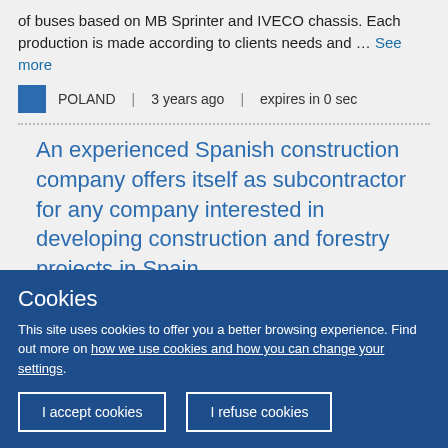of buses based on MB Sprinter and IVECO chassis. Each production is made according to clients needs and ... See more
POLAND | 3 years ago | expires in 0 sec
An experienced Spanish construction company offers itself as subcontractor for any company interested in developing construction and forestry projects in Spain
Cookies
This site uses cookies to offer you a better browsing experience. Find out more on how we use cookies and how you can change your settings.
I accept cookies | I refuse cookies